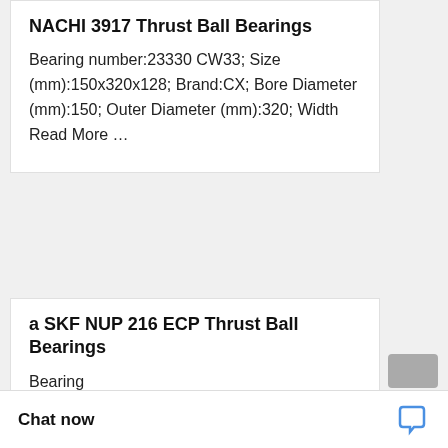NACHI 3917 Thrust Ball Bearings
Bearing number:23330 CW33; Size (mm):150x320x128; Brand:CX; Bore Diameter (mm):150; Outer Diameter (mm):320; Width Read More …
a SKF NUP 216 ECP Thrust Ball Bearings
Bearing numb…
Chat now